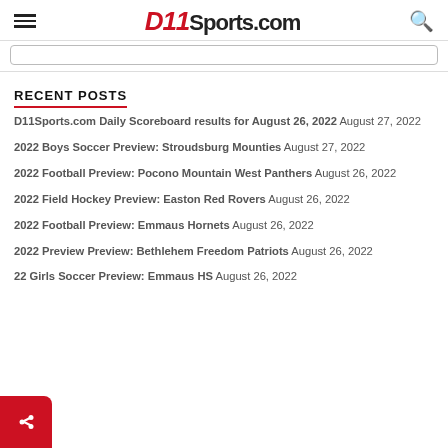D11Sports.com
RECENT POSTS
D11Sports.com Daily Scoreboard results for August 26, 2022 August 27, 2022
2022 Boys Soccer Preview: Stroudsburg Mounties August 27, 2022
2022 Football Preview: Pocono Mountain West Panthers August 26, 2022
2022 Field Hockey Preview: Easton Red Rovers August 26, 2022
2022 Football Preview: Emmaus Hornets August 26, 2022
2022 Preview Preview: Bethlehem Freedom Patriots August 26, 2022
22 Girls Soccer Preview: Emmaus HS August 26, 2022